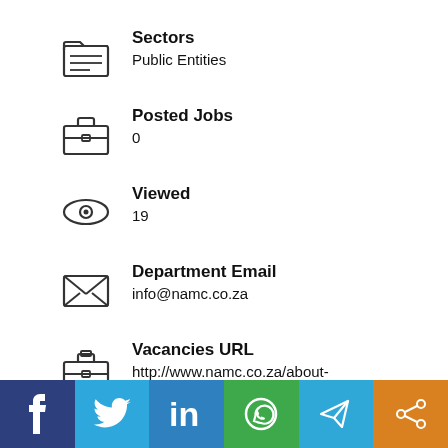Sectors
Public Entities
Posted Jobs
0
Viewed
19
Department Email
info@namc.co.za
Vacancies URL
http://www.namc.co.za/about-us/tenders/suppliers/